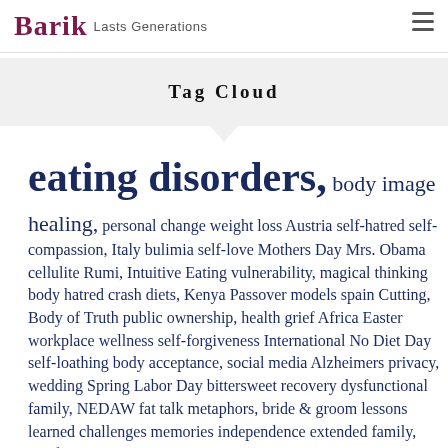Barik Lasts Generations
Tag Cloud
eating disorders, body image healing, personal change weight loss Austria self-hatred self-compassion, Italy bulimia self-love Mothers Day Mrs. Obama cellulite Rumi, Intuitive Eating vulnerability, magical thinking body hatred crash diets, Kenya Passover models spain Cutting, Body of Truth public ownership, health grief Africa Easter workplace wellness self-forgiveness International No Diet Day self-loathing body acceptance, social media Alzheimers privacy, wedding Spring Labor Day bittersweet recovery dysfunctional family, NEDAW fat talk metaphors, bride & groom lessons learned challenges memories independence extended family, Renfrew Perspectives